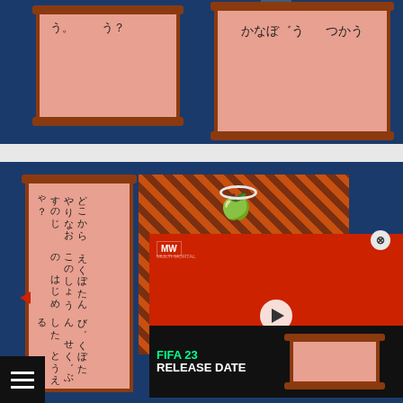[Figure (screenshot): Retro RPG game screenshot top panel with dark blue background showing two scroll/panel UI elements with Japanese hiragana text, salmon/pink colored scroll bodies with brown borders and rods]
[Figure (screenshot): Retro RPG game screenshot bottom panel showing a vertical scroll with Japanese text columns (どこから やりなおすのじゃ？ えくぼたん このしょうの はじめ びくぼたん せくぶした とうえる), diagonal brown pattern background, overlaid FIFA 23 Release Date video advertisement with MW logo, play button, and green FIFA 23 text]